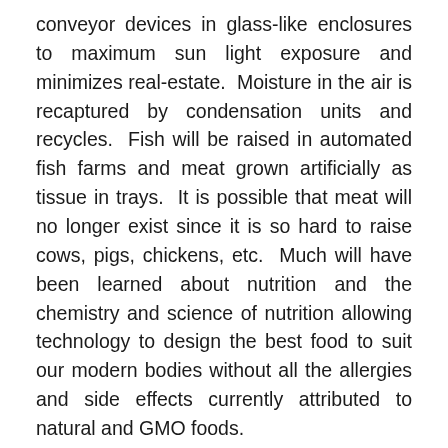conveyor devices in glass-like enclosures to maximum sun light exposure and minimizes real-estate.  Moisture in the air is recaptured by condensation units and recycles.  Fish will be raised in automated fish farms and meat grown artificially as tissue in trays.  It is possible that meat will no longer exist since it is so hard to raise cows, pigs, chickens, etc.  Much will have been learned about nutrition and the chemistry and science of nutrition allowing technology to design the best food to suit our modern bodies without all the allergies and side effects currently attributed to natural and GMO foods.
The bulk of future diets will consists of artificially created foods not that different than processed foods today but with almost no naturally ingredient which will be too difficult to grow in large quantities.  Things such as chips